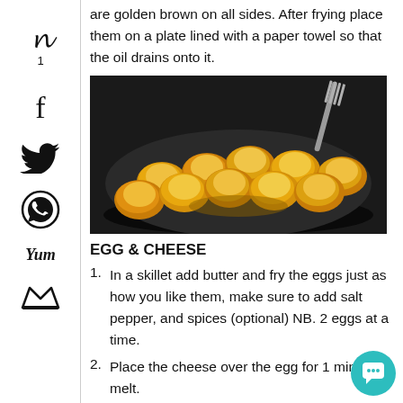are golden brown on all sides. After frying place them on a plate lined with a paper towel so that the oil drains onto it.
[Figure (photo): Golden fried dumplings in a dark skillet/pan with a fork visible, cooked on a stovetop]
EGG & CHEESE
In a skillet add butter and fry the eggs just as how you like them, make sure to add salt pepper, and spices (optional) NB. 2 eggs at a time.
Place the cheese over the egg for 1 minute to melt.
When you are done you should end up with roughly, 8 dumplings and 2 separate fried